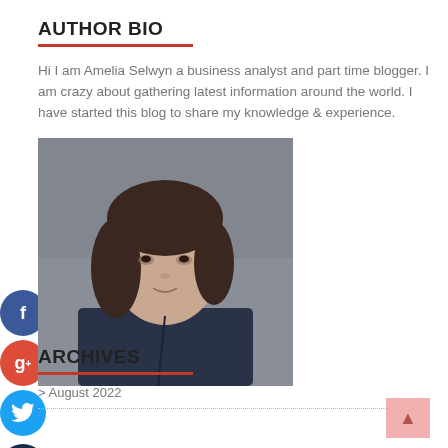AUTHOR BIO
Hi I am Amelia Selwyn a business analyst and part time blogger. I am crazy about gathering latest information around the world. I have started this blog to share my knowledge & experience.
[Figure (photo): Portrait photo of a woman with shoulder-length brown hair wearing a dark navy blazer, photographed against a grey background.]
ARCHIVES
> August 2022